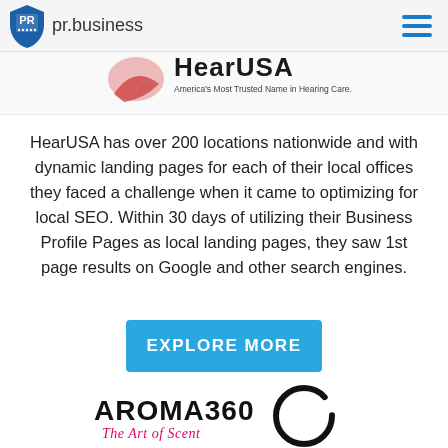PR pr.business
[Figure (logo): HearUSA logo with tagline 'America's Most Trusted Name in Hearing Care.']
HearUSA has over 200 locations nationwide and with dynamic landing pages for each of their local offices they faced a challenge when it came to optimizing for local SEO. Within 30 days of utilizing their Business Profile Pages as local landing pages, they saw 1st page results on Google and other search engines.
[Figure (other): Blue button labeled EXPLORE MORE]
[Figure (logo): AROMA360 - The Art of Scent logo with circular brush stroke]